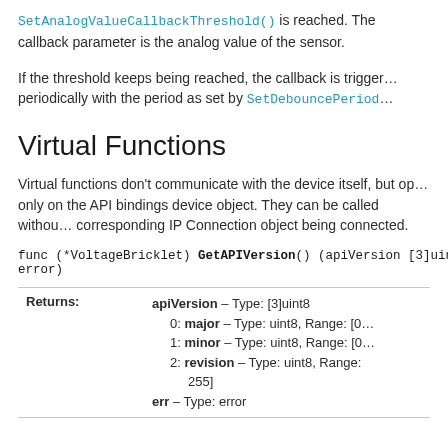SetAnalogValueCallbackThreshold() is reached. The callback parameter is the analog value of the sensor.
If the threshold keeps being reached, the callback is triggered periodically with the period as set by SetDebouncePeriod
Virtual Functions
Virtual functions don't communicate with the device itself, but operate only on the API bindings device object. They can be called without the corresponding IP Connection object being connected.
func (*VoltageBricklet) GetAPIVersion() (apiVersion [3]uint8, error)
|  |  |
| --- | --- |
| Returns: | apiVersion – Type: [3]uint8
0: major – Type: uint8, Range: [0
1: minor – Type: uint8, Range: [0
2: revision – Type: uint8, Range: 255]
err – Type: error |